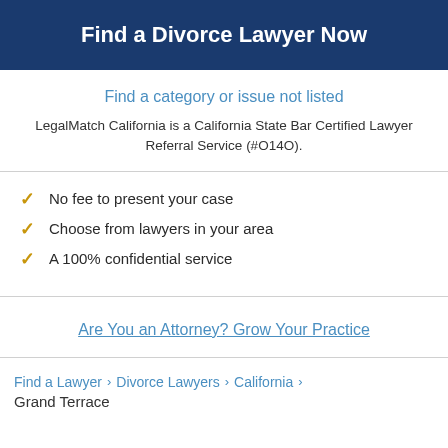Find a Divorce Lawyer Now
Find a category or issue not listed
LegalMatch California is a California State Bar Certified Lawyer Referral Service (#O14O).
No fee to present your case
Choose from lawyers in your area
A 100% confidential service
Are You an Attorney? Grow Your Practice
Find a Lawyer > Divorce Lawyers > California > Grand Terrace